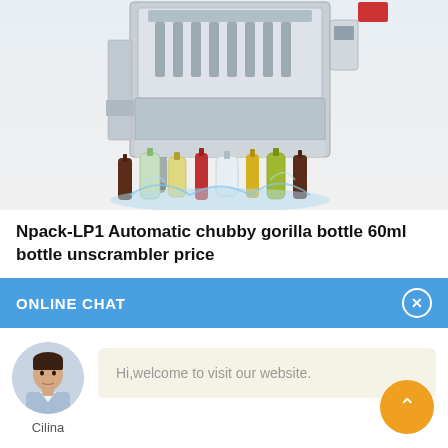[Figure (photo): Industrial bottle filling/unscrambling machine (stainless steel, multiple nozzles) above a row of various cosmetic/shampoo bottles with water splash graphic.]
Npack-LP1 Automatic chubby gorilla bottle 60ml bottle unscrambler price
ONLINE CHAT
[Figure (photo): Avatar photo of a young woman named Cilina, customer service representative.]
Hi,welcome to visit our website.
Cilina